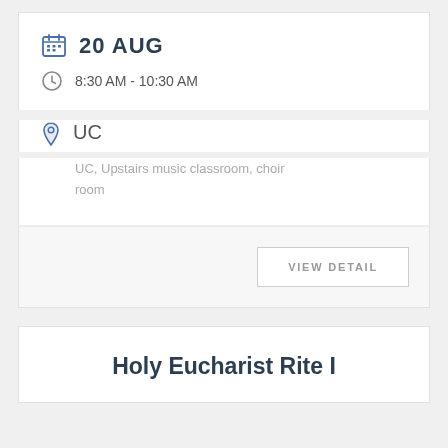20 AUG
8:30 AM - 10:30 AM
UC
UC, Upstairs music classroom, choir room
VIEW DETAIL
Holy Eucharist Rite I